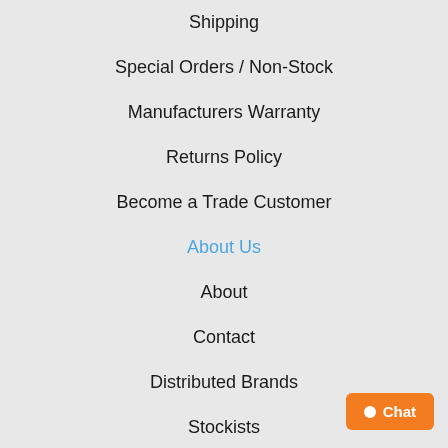Shipping
Special Orders / Non-Stock
Manufacturers Warranty
Returns Policy
Become a Trade Customer
About Us
About
Contact
Distributed Brands
Stockists
Sponsorship
New Zealand Distributi...